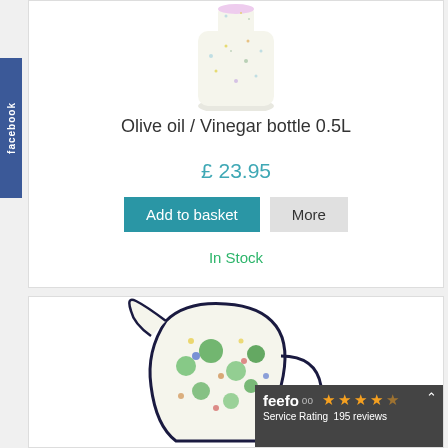[Figure (photo): Ceramic olive oil / vinegar bottle with dotted pattern, partially visible at top]
Olive oil / Vinegar bottle 0.5L
£ 23.95
Add to basket | More
In Stock
[Figure (photo): Decorated ceramic jug/pitcher with floral and berry pattern in green, blue and yellow on white background]
[Figure (other): Feefo service rating badge showing 4 out of 5 stars and 195 reviews]